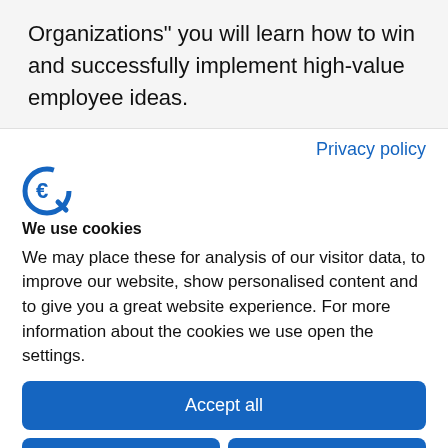Organizations” you will learn how to win and successfully implement high-value employee ideas.
Privacy policy
[Figure (logo): Cookie consent manager logo - stylized letter C in blue with arrow/cursor element]
We use cookies
We may place these for analysis of our visitor data, to improve our website, show personalised content and to give you a great website experience. For more information about the cookies we use open the settings.
Accept all
Deny
No, adjust